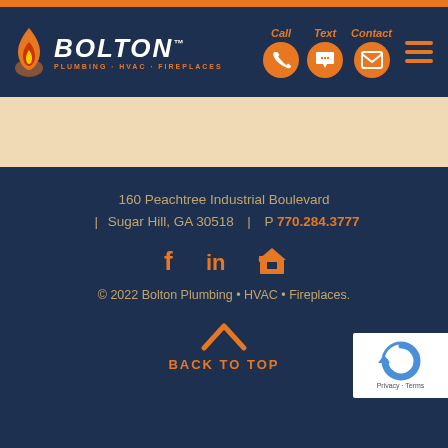[Figure (logo): Bolton Plumbing HVAC Fireplaces logo with flame icon and orange/white text on navy background, with Call, Text, Contact orange circle icons and hamburger menu]
[Figure (other): Tan/peach decorative band]
160 Peachtree Industrial Boulevard | Sugar Hill, GA 30518 | P 770.284.3777
[Figure (other): Social media icons: Facebook, LinkedIn, and house/store icon in orange]
© 2022 Bolton Plumbing • HVAC • Fireplaces.
BACK TO TOP
[Figure (other): reCAPTCHA badge with Privacy and Terms links]